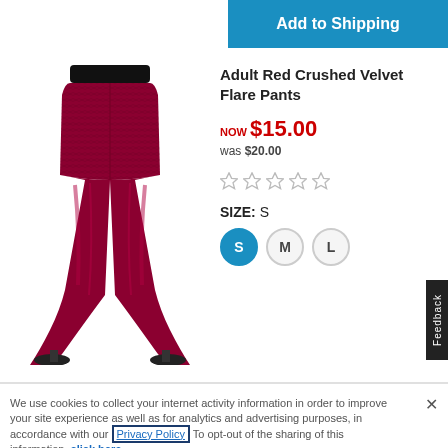[Figure (other): Blue 'Add to Shipping' button in top right]
[Figure (photo): Photo of adult red crushed velvet flare pants worn by a model]
Adult Red Crushed Velvet Flare Pants
NOW $15.00
was $20.00
[Figure (other): Five empty star rating icons]
SIZE: S
S  M  L
We use cookies to collect your internet activity information in order to improve your site experience as well as for analytics and advertising purposes, in accordance with our Privacy Policy. To opt-out of the sharing of this information, click here.